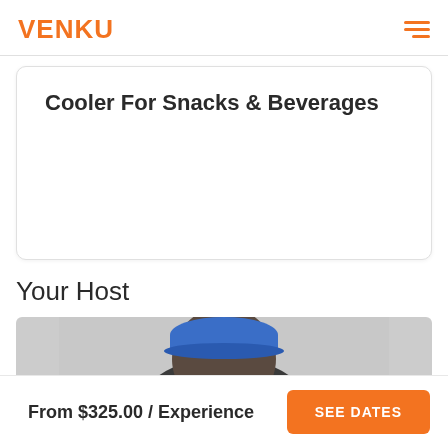VENKU
Cooler For Snacks & Beverages
Your Host
[Figure (photo): Partial photo of a host wearing a blue cap, cropped at bottom of frame]
From $325.00 / Experience
SEE DATES